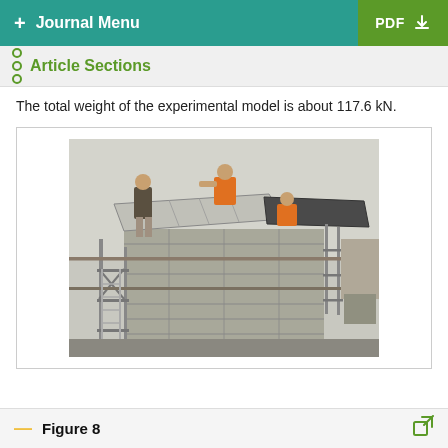+ Journal Menu | PDF
Article Sections
The total weight of the experimental model is about 117.6 kN.
[Figure (photo): Three workers on top of a concrete block masonry building model placing large metal plates/slabs on the roof. The structure is supported by scaffolding. Two workers wear orange shirts. The building appears to be a small experimental structure used in structural engineering testing.]
Figure 8